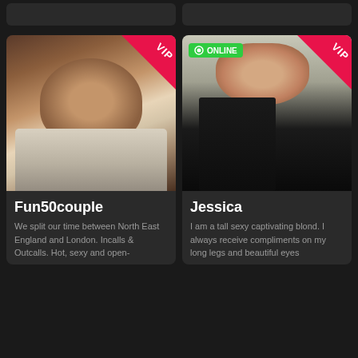[Figure (photo): Top partial cards row showing two truncated profile cards on dark background]
[Figure (photo): Profile photo of Fun50couple with VIP ribbon badge in top right corner. Woman with brown hair posing indoors.]
Fun50couple
We split our time between North East England and London. Incalls & Outcalls. Hot, sexy and open-
[Figure (photo): Profile photo of Jessica with VIP ribbon and ONLINE badge. Woman in black lingerie and thigh-high boots posing.]
Jessica
I am a tall sexy captivating blond. I always receive compliments on my long legs and beautiful eyes